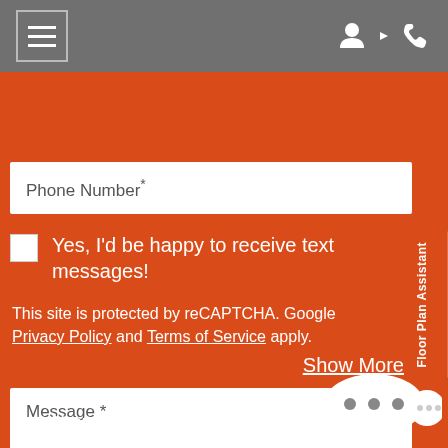Navigation bar with hamburger menu and icons
Phone Number*
Yes, I'd be happy to receive text messages!
Show More
Message *
Floor Plan Assistant
This site is protected by reCAPTCHA. Google Privacy Policy and Terms of Service apply.
Ask About Our Preferred Employer Program